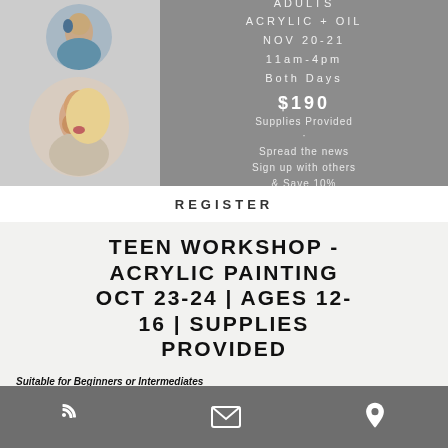[Figure (photo): Two circular portrait paintings of young figures, stacked vertically on the left side]
ADULTS
ACRYLIC + OIL
NOV 20-21
11am-4pm
Both Days

$190
Supplies Provided
·
Spread the news
Sign up with others
& Save 10%
REGISTER
TEEN WORKSHOP - ACRYLIC PAINTING OCT 23-24 | AGES 12-16 | SUPPLIES PROVIDED
Suitable for Beginners or Intermediates
This workshop is a great introduction to Acrylic painting. The instructor will help students map out the proportions of their artwork and encourage students to use bold brushstrokes in their painting.